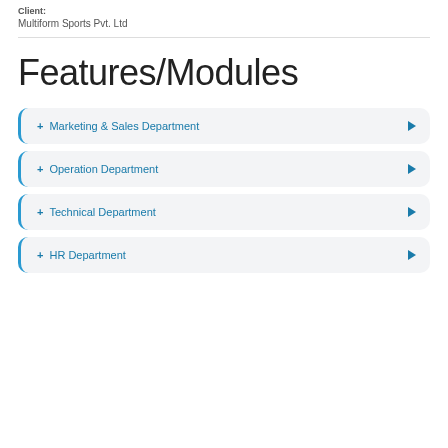Client:
Multiform Sports Pvt. Ltd
Features/Modules
+ Marketing & Sales Department
+ Operation Department
+ Technical Department
+ HR Department